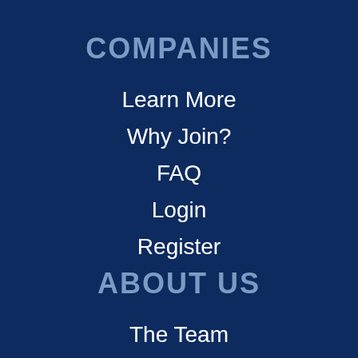COMPANIES
Learn More
Why Join?
FAQ
Login
Register
ABOUT US
The Team
Press Room
Careers